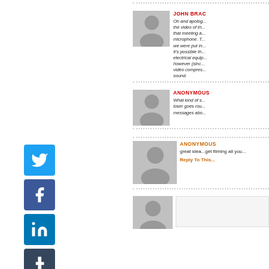[Figure (infographic): Social media sharing icons: Twitter (blue bird), Facebook (blue f), LinkedIn (blue in), Tumblr (dark t), Plus/AddThis (orange +)]
JOHN BRAC...
Oh and apolog... the video of th... that meeting a... microphone. T... we were put in... It's possible th... electrical equip... however (sinc... video compres... sound.
ANONYMOUS
What kind of s... loser goes rou... messages abo...
ANONYMOUS
great idea...get filming all you...
Reply To This...